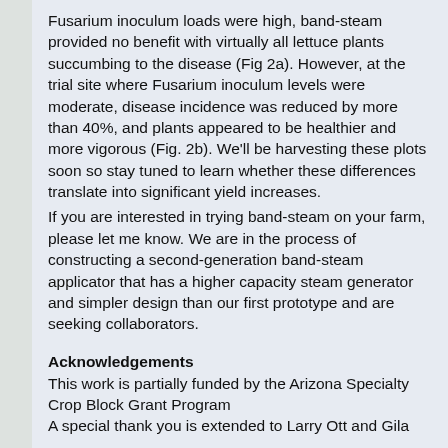Fusarium inoculum loads were high, band-steam provided no benefit with virtually all lettuce plants succumbing to the disease (Fig 2a). However, at the trial site where Fusarium inoculum levels were moderate, disease incidence was reduced by more than 40%, and plants appeared to be healthier and more vigorous (Fig. 2b). We'll be harvesting these plots soon so stay tuned to learn whether these differences translate into significant yield increases.
If you are interested in trying band-steam on your farm, please let me know. We are in the process of constructing a second-generation band-steam applicator that has a higher capacity steam generator and simpler design than our first prototype and are seeking collaborators.
Acknowledgements
This work is partially funded by the Arizona Specialty Crop Block Grant Program
A special thank you is extended to Larry Ott and Gila